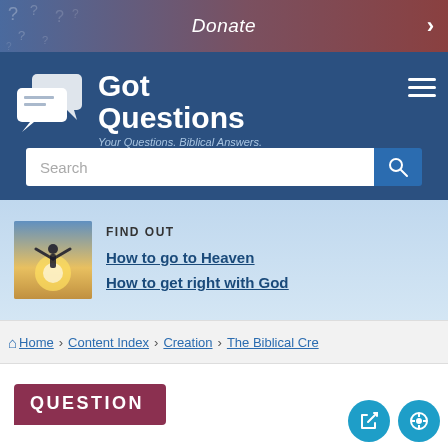Donate
[Figure (logo): GotQuestions logo with speech bubble icons and text 'Got Questions - Your Questions. Biblical Answers.']
Search
[Figure (illustration): Person with arms raised against bright sunlight, promoting 'How to go to Heaven' and 'How to get right with God']
FIND OUT
How to go to Heaven
How to get right with God
Home > Content Index > Creation > The Biblical Cre
QUESTION